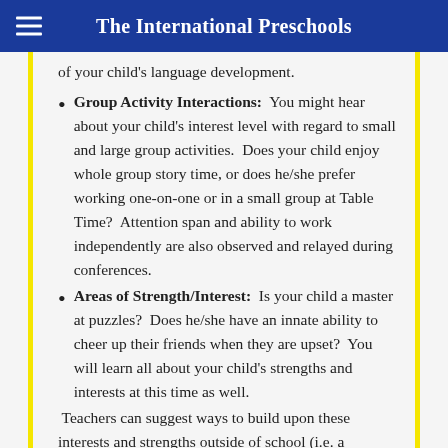The International Preschools
of your child's language development.
Group Activity Interactions:  You might hear about your child's interest level with regard to small and large group activities.  Does your child enjoy whole group story time, or does he/she prefer working one-on-one or in a small group at Table Time?  Attention span and ability to work independently are also observed and relayed during conferences.
Areas of Strength/Interest:  Is your child a master at puzzles?  Does he/she have an innate ability to cheer up their friends when they are upset?  You will learn all about your child's strengths and interests at this time as well.
Teachers can suggest ways to build upon these interests and strengths outside of school (i.e. a